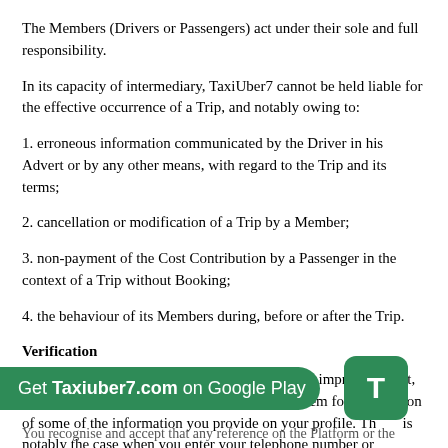The Members (Drivers or Passengers) act under their sole and full responsibility.
In its capacity of intermediary, TaxiUber7 cannot be held liable for the effective occurrence of a Trip, and notably owing to:
1. erroneous information communicated by the Driver in his Advert or by any other means, with regard to the Trip and its terms;
2. cancellation or modification of a Trip by a Member;
3. non-payment of the Cost Contribution by a Passenger in the context of a Trip without Booking;
4. the behaviour of its Members during, before or after the Trip.
Verification
Taxiuber7 may, for the purposes of transparency, improving trust, or prevention or detection of fraud, set up a system for verification of some of the information you provide on your profile. This is notably the case when you enter your telephone number or provide us with an Identity document.
You recognise and accept that any reference on the Platform or the